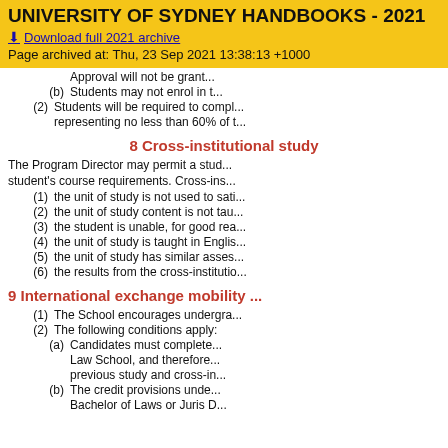UNIVERSITY OF SYDNEY HANDBOOKS - 2021
Download full 2021 archive
Page archived at: Thu, 23 Sep 2021 13:38:13 +1000
(b) Students may not enrol in t...
(2) Students will be required to compl... representing no less than 60% of t...
8 Cross-institutional study
The Program Director may permit a stud... student's course requirements. Cross-ins...
(1) the unit of study is not used to sati...
(2) the unit of study content is not tau...
(3) the student is unable, for good rea...
(4) the unit of study is taught in Englis...
(5) the unit of study has similar asses...
(6) the results from the cross-institutio...
9 International exchange mobility ...
(1) The School encourages undergra...
(2) The following conditions apply:
(a) Candidates must complete... Law School, and therefore... previous study and cross-in...
(b) The credit provisions unde... Bachelor of Laws or Juris D...